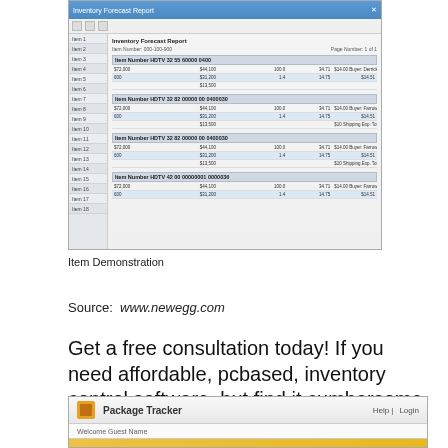[Figure (screenshot): Screenshot of an Inventory Forecast Report software showing tabular inventory data with multiple sections and rows of data.]
Item Demonstration
Source:  www.newegg.com
Get a free consultation today! If you need affordable, pcbased, inventory control software, but find it cumbersome to receive and issue items from a stationary location or workstation, re.
[Figure (screenshot): Screenshot of a Package Tracker application showing a navigation bar with logo, Help and Login links, and a gold banner at the bottom.]